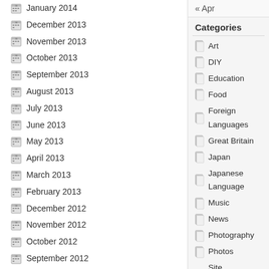January 2014
December 2013
November 2013
October 2013
September 2013
August 2013
July 2013
June 2013
May 2013
April 2013
March 2013
February 2013
December 2012
November 2012
October 2012
September 2012
August 2012
July 2012
May 2012
March 2012
February 2012
« Apr
Categories
Art
DIY
Education
Food
Foreign Languages
Great Britain
Japan
Japanese Language
Music
News
Photography
Photos
Site Maintenance
Technology
Travel